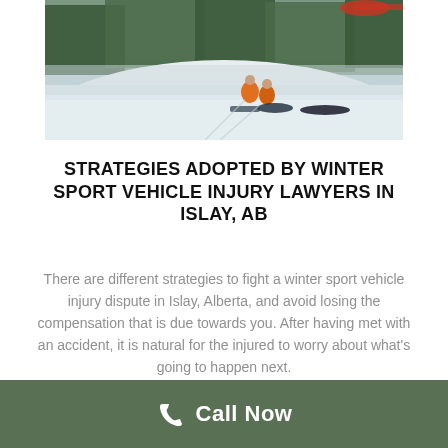[Figure (photo): Outdoor winter scene showing people in orange jackets on a snowy slope, with trees in the background and what appears to be a snowmobile accident scene.]
STRATEGIES ADOPTED BY WINTER SPORT VEHICLE INJURY LAWYERS IN ISLAY, AB
There are different strategies to fight a winter sport vehicle injury dispute in Islay, Alberta, and avoid losing the compensation that is due towards you. After having met with an accident, it is natural for the injured to worry about what's going to happen next.
Call Now